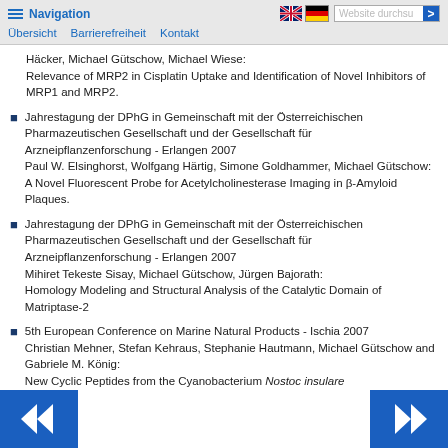Navigation | Übersicht | Barrierefreiheit | Kontakt
Häcker, Michael Gütschow, Michael Wiese:
Relevance of MRP2 in Cisplatin Uptake and Identification of Novel Inhibitors of MRP1 and MRP2.
Jahrestagung der DPhG in Gemeinschaft mit der Österreichischen Pharmazeutischen Gesellschaft und der Gesellschaft für Arzneipflanzenforschung - Erlangen 2007
Paul W. Elsinghorst, Wolfgang Härtig, Simone Goldhammer, Michael Gütschow:
A Novel Fluorescent Probe for Acetylcholinesterase Imaging in β-Amyloid Plaques.
Jahrestagung der DPhG in Gemeinschaft mit der Österreichischen Pharmazeutischen Gesellschaft und der Gesellschaft für Arzneipflanzenforschung - Erlangen 2007
Mihiret Tekeste Sisay, Michael Gütschow, Jürgen Bajorath:
Homology Modeling and Structural Analysis of the Catalytic Domain of Matriptase-2
5th European Conference on Marine Natural Products - Ischia 2007
Christian Mehner, Stefan Kehraus, Stephanie Hautmann, Michael Gütschow and Gabriele M. König:
New Cyclic Peptides from the Cyanobacterium Nostoc insulare